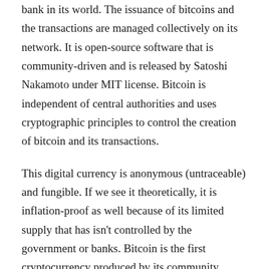bank in its world. The issuance of bitcoins and the transactions are managed collectively on its network. It is open-source software that is community-driven and is released by Satoshi Nakamoto under MIT license. Bitcoin is independent of central authorities and uses cryptographic principles to control the creation of bitcoin and its transactions.
This digital currency is anonymous (untraceable) and fungible. If we see it theoretically, it is inflation-proof as well because of its limited supply that has isn't controlled by the government or banks. Bitcoin is the first cryptocurrency produced by its community members across the world using highly advanced computer software used to solve complicated mathematical problems. Know about profit edge that is great for bitcoin trading.
What makes bitcoin different from fiat currencies?